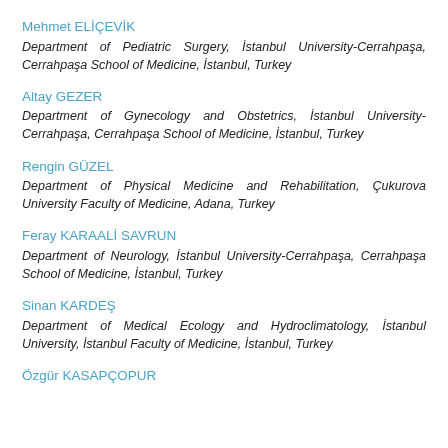Mehmet ELİÇEVİK
Department of Pediatric Surgery, İstanbul University-Cerrahpaşa, Cerrahpaşa School of Medicine, İstanbul, Turkey
Altay GEZER
Department of Gynecology and Obstetrics, İstanbul University-Cerrahpaşa, Cerrahpaşa School of Medicine, İstanbul, Turkey
Rengin GÜZEL
Department of Physical Medicine and Rehabilitation, Çukurova University Faculty of Medicine, Adana, Turkey
Feray KARAALİ SAVRUN
Department of Neurology, İstanbul University-Cerrahpaşa, Cerrahpaşa School of Medicine, İstanbul, Turkey
Sinan KARDEŞ
Department of Medical Ecology and Hydroclimatology, İstanbul University, İstanbul Faculty of Medicine, İstanbul, Turkey
Özgür KASAPÇOPUR